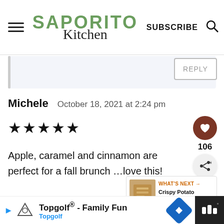SAPORITO Kitchen | SUBSCRIBE
REPLY
Michele   October 18, 2021 at 2:24 pm
★★★★★
Apple, caramel and cinnamon are perfect for a fall brunch …love this!
WHAT'S NEXT → Crispy Potato Wedges with...
REPLY
Topgolf® - Family Fun Topgolf